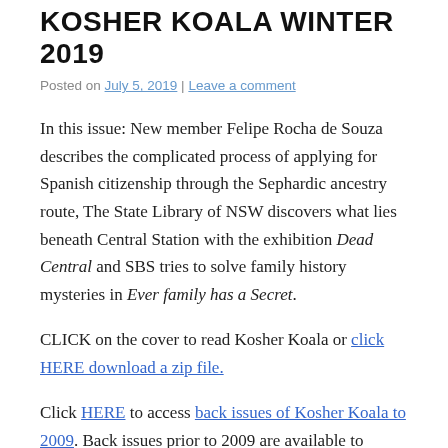KOSHER KOALA WINTER 2019
Posted on July 5, 2019 | Leave a comment
In this issue: New member Felipe Rocha de Souza describes the complicated process of applying for Spanish citizenship through the Sephardic ancestry route, The State Library of NSW discovers what lies beneath Central Station with the exhibition Dead Central and SBS tries to solve family history mysteries in Ever family has a Secret.
CLICK on the cover to read Kosher Koala or click HERE download a zip file.
Click HERE to access back issues of Kosher Koala to 2009. Back issues prior to 2009 are available to